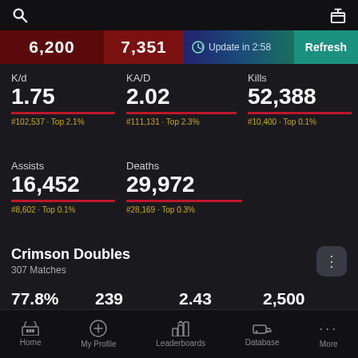Search | Gift
6,200  7,351  Update in 2:58  Refresh
K/d
1.75
#102,537 · Top 2.1%
KA/D
2.02
#111,131 · Top 2.3%
Kills
52,388
#10,400 · Top 0.1%
Assists
16,452
#8,602 · Top 0.1%
Deaths
29,972
#28,169 · Top 0.3%
Crimson Doubles
307 Matches
77.8%
Win %
239
Wins
2.43
K/d
2,500
Kills
752  8.14
Home  My Profile  Leaderboards  Database  More